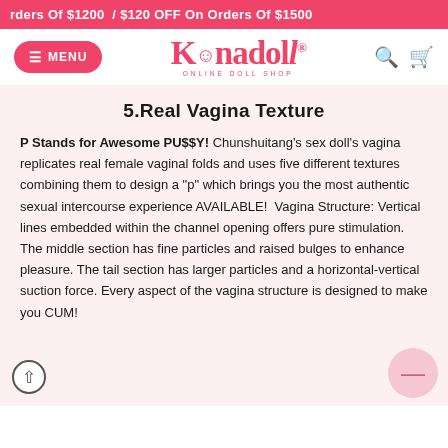rders Of $1200  / $120 OFF On Orders Of $1500
[Figure (logo): Konadoll online doll shop logo with MENU button and search/cart icons]
5.Real Vagina Texture
P Stands for Awesome PU$$Y! Chunshuitang's sex doll's vagina replicates real female vaginal folds and uses five different textures combining them to design a "p" which brings you the most authentic sexual intercourse experience AVAILABLE!  Vagina Structure: Vertical lines embedded within the channel opening offers pure stimulation. The middle section has fine particles and raised bulges to enhance pleasure. The tail section has larger particles and a horizontal-vertical suction force. Every aspect of the vagina structure is designed to make you CUM!